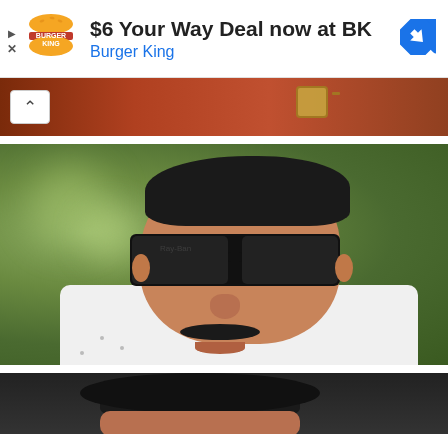[Figure (screenshot): Burger King advertisement banner showing BK logo, text '$6 Your Way Deal now at BK' and 'Burger King' subtitle with a blue diamond arrow icon on the right. Play and close (X) controls on the left.]
[Figure (photo): Partial photo strip showing a person's torso in a red/brown top with a gold watch, with a white arrow/chevron button overlay on the left.]
[Figure (photo): Main photo of a middle-aged man wearing dark Ray-Ban style wayfarer sunglasses and a white floral/printed shirt, with a blurred green/bokeh background. He has black hair and a mustache, looking serious.]
[Figure (photo): Partial bottom photo strip showing the top of a person's head with dark hair, partially cropped.]